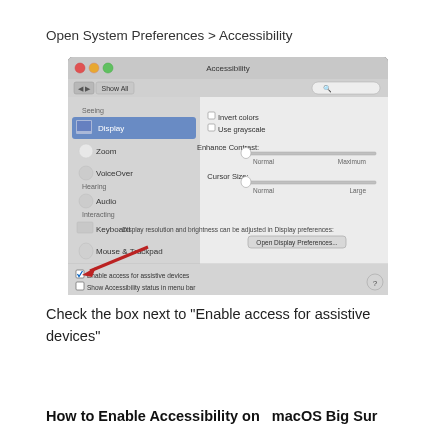Open System Preferences > Accessibility
[Figure (screenshot): macOS Accessibility System Preferences window showing Display selected in sidebar, with checkboxes for 'Enable access for assistive devices' (checked) and 'Show Accessibility status in menu bar'. A red arrow points to the Enable access for assistive devices checkbox at the bottom.]
Check the box next to "Enable access for assistive devices"
How to Enable Accessibility on  macOS Big Sur